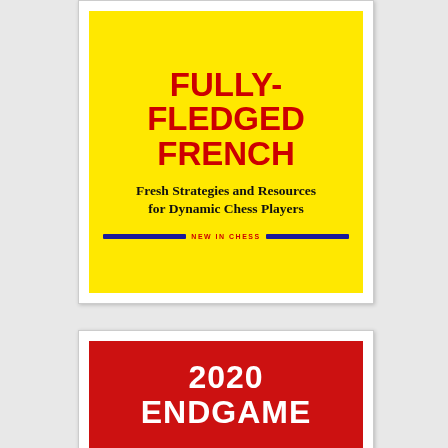[Figure (illustration): Book cover: 'Fully-Fledged French – Fresh Strategies and Resources for Dynamic Chess Players', yellow background, red title text, New In Chess publisher logo with blue bars]
[Figure (illustration): Book cover: '2020 Endgame', red background, white bold title text (partially visible)]